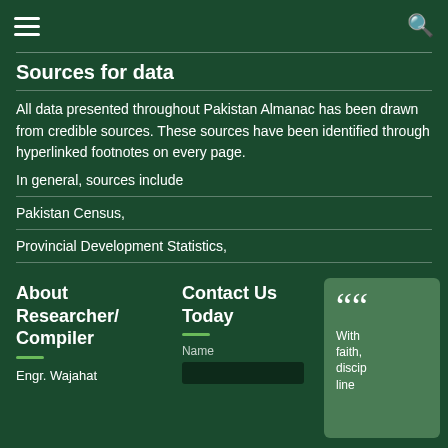(Read more..)
Sources for data
All data presented throughout Pakistan Almanac has been drawn from credible sources. These sources have been identified through hyperlinked footnotes on every page.
In general, sources include
Pakistan Census,
Provincial Development Statistics,
Pakistan Social and Living Measurement Survey,
(Read more..)
About Researcher/ Compiler
Engr. Wajahat
Contact Us Today
Name
With faith, discipline